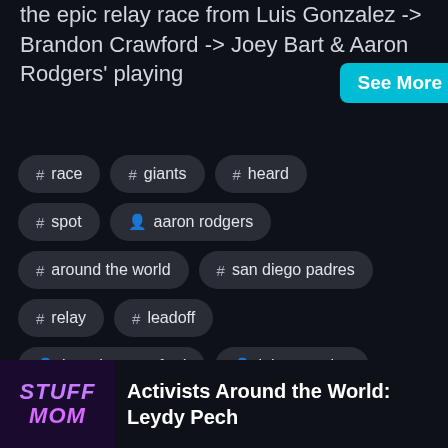the epic relay race from Luis Gonzalez -> Brandon Crawford -> Joey Bart & Aaron Rodgers' playing
# race
# giants
# heard
# spot
person aaron rodgers
# around the world
# san diego padres
# relay
# leadoff
person brandon crawford
person luis gonzalez
person joey bart
Activists Around the World: Leydy Pech